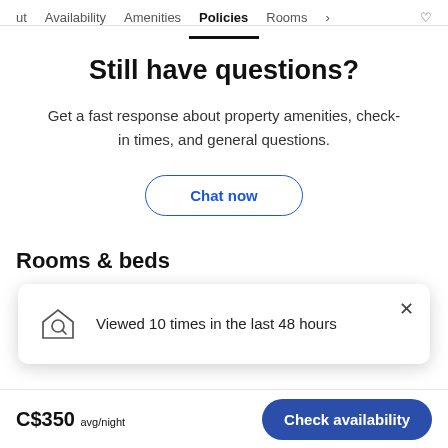ut  Availability  Amenities  Policies  Rooms >  ♡
Still have questions?
Get a fast response about property amenities, check-in times, and general questions.
Chat now
Rooms & beds
Viewed 10 times in the last 48 hours
C$350 avg/night
Check availability